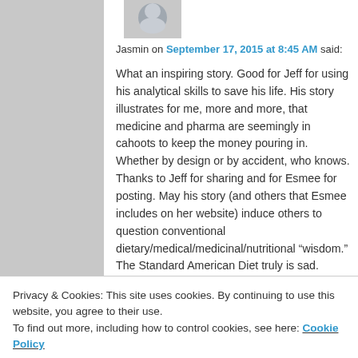[Figure (illustration): Partial avatar/profile image silhouette at top]
Jasmin on September 17, 2015 at 8:45 AM said:
What an inspiring story. Good for Jeff for using his analytical skills to save his life. His story illustrates for me, more and more, that medicine and pharma are seemingly in cahoots to keep the money pouring in. Whether by design or by accident, who knows. Thanks to Jeff for sharing and for Esmee for posting. May his story (and others that Esmee includes on her website) induce others to question conventional dietary/medical/medicinal/nutritional “wisdom.” The Standard American Diet truly is sad. Continued good health to Jeff!
Privacy & Cookies: This site uses cookies. By continuing to use this website, you agree to their use.
To find out more, including how to control cookies, see here: Cookie Policy
Close and accept
[Figure (illustration): Partial avatar/profile image silhouette at bottom]
said: